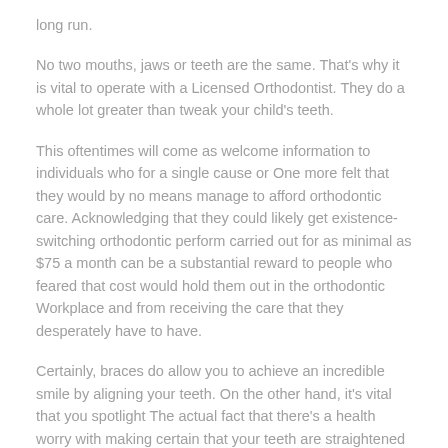long run.
No two mouths, jaws or teeth are the same. That's why it is vital to operate with a Licensed Orthodontist. They do a whole lot greater than tweak your child's teeth.
This oftentimes will come as welcome information to individuals who for a single cause or One more felt that they would by no means manage to afford orthodontic care. Acknowledging that they could likely get existence-switching orthodontic perform carried out for as minimal as $75 a month can be a substantial reward to people who feared that cost would hold them out in the orthodontic Workplace and from receiving the care that they desperately have to have.
Certainly, braces do allow you to achieve an incredible smile by aligning your teeth. On the other hand, it's vital that you spotlight The actual fact that there's a health worry with making certain that your teeth are straightened out adequately. This potential customers to better chewing of one's foodstuff and may help mitigate the risk of getting gum illness.